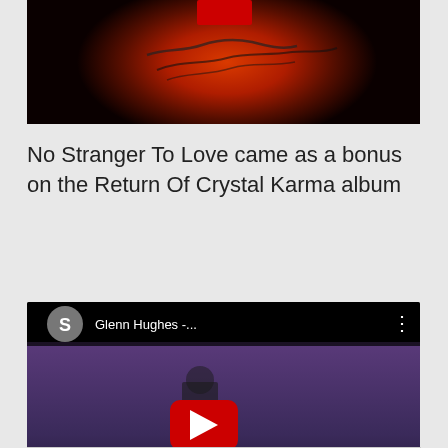[Figure (photo): Partial album cover image showing a dark background with orange/red glow and a handwritten signature, cropped at top]
No Stranger To Love came as a bonus on the Return Of Crystal Karma album
[Figure (screenshot): YouTube video thumbnail showing Glenn Hughes video with play button, channel avatar with letter S, and title 'Glenn Hughes -...' with three-dot menu]
★ Liked by 2 people